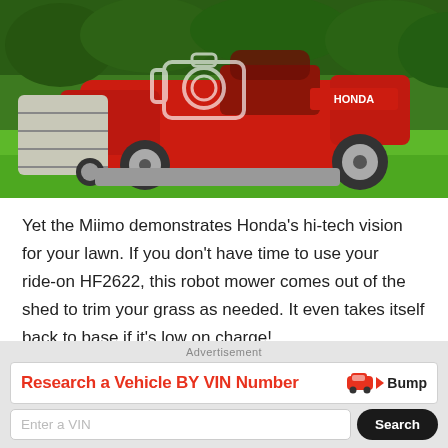[Figure (photo): A red Honda HF2622 ride-on lawn mower with a large grass collection bag on the left side, being driven on green grass. A camera icon overlay is visible in the center of the image. Text 'HONDA' is visible on the mower body.]
Yet the Miimo demonstrates Honda's hi-tech vision for your lawn. If you don't have time to use your ride-on HF2622, this robot mower comes out of the shed to trim your grass as needed. It even takes itself back to base if it's low on charge!
Advertisement
[Figure (infographic): Advertisement banner: 'Research a Vehicle BY VIN Number' in red bold text with Bump logo (car icon and triangle play icon). Below is an input field 'Enter a VIN' and a dark Search button.]